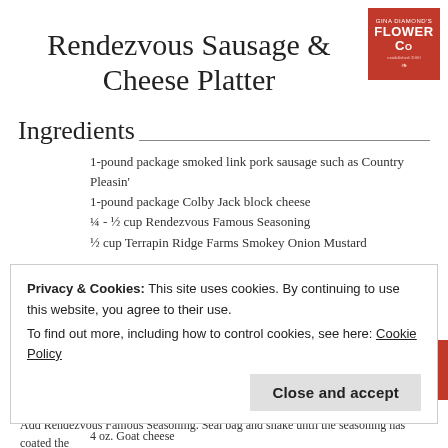Rendezvous Sausage & Cheese Platter
[Figure (logo): Gina Diamond's Flower Co logo in red box with white text]
Ingredients
1-pound package smoked link pork sausage such as Country Pleasin'
1-pound package Colby Jack block cheese
¼ - ½ cup Rendezvous Famous Seasoning
½ cup Terrapin Ridge Farms Smokey Onion Mustard
Directions
Slice sausage into rings and pan fry according to package directions until well done. Drain on paper towel and set aside and cool slightly.
Cut cheese into small cubes (we don't recommend using pre-cubed cheese as the seasoning does not stick to the cheese as well)
Place cooked, cooled sausage and cheese cubes into a large plastic food storage bag.  Add Rendezvous Famous Seasoning.  Seal bag and shake until the seasoning has coated the
Privacy & Cookies: This site uses cookies. By continuing to use this website, you agree to their use.
To find out more, including how to control cookies, see here: Cookie Policy
Close and accept
4 oz. Goat cheese